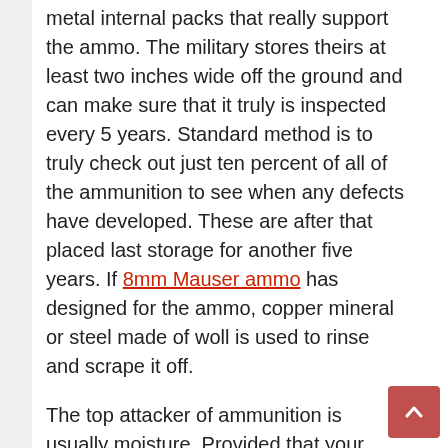metal internal packs that really support the ammo. The military stores theirs at least two inches wide off the ground and can make sure that it truly is inspected every 5 years. Standard method is to truly check out just ten percent of all of the ammunition to see when any defects have developed. These are after that placed last storage for another five years. If 8mm Mauser ammo has designed for the ammo, copper mineral or steel made of woll is used to rinse and scrape it off.

The top attacker of ammunition is usually moisture. Provided that your current container is water-proof, you should certainly not expect any problems. Another common military